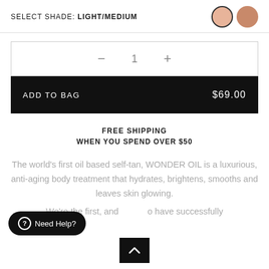SELECT SHADE: LIGHT/MEDIUM
- 1 +
ADD TO BAG   $69.00
FREE SHIPPING
WHEN YOU SPEND OVER $50
The world's first oil based self-tan, WONDER OIL is a luxurious, anti-aging body treatment that hydrates, brightens, smooths and leaves skin glowing.
We're the first, and [to have successfully
Need Help?